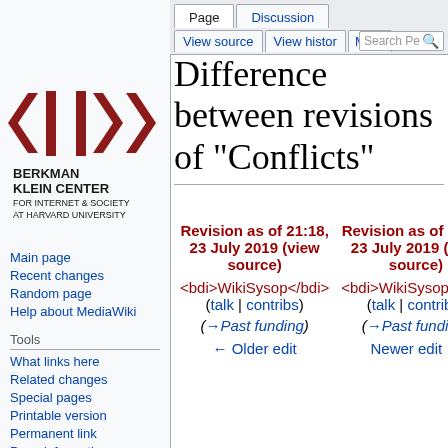Log in
[Figure (logo): Berkman Klein Center for Internet & Society at Harvard University logo — dark red chevron/arrow shapes with vertical bars]
Main page
Recent changes
Random page
Help about MediaWiki
Tools
What links here
Related changes
Special pages
Printable version
Permanent link
Page information
Difference between revisions of "Conflicts"
| Revision as of 21:18, 23 July 2019 (view source) | Revision as of 21:19, 23 July 2019 (view source) |
| --- | --- |
| <bdi>WikiSysop</bdi> (talk | contribs) | <bdi>WikiSysop</bdi> (talk | contribs) |
| (→Past funding) | (→Past funding) |
| ← Older edit | Newer edit → |